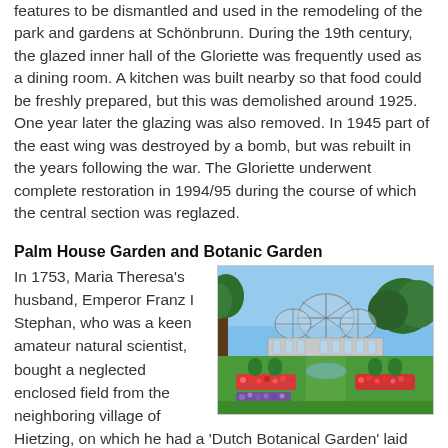features to be dismantled and used in the remodeling of the park and gardens at Schönbrunn. During the 19th century, the glazed inner hall of the Gloriette was frequently used as a dining room. A kitchen was built nearby so that food could be freshly prepared, but this was demolished around 1925. One year later the glazing was also removed. In 1945 part of the east wing was destroyed by a bomb, but was rebuilt in the years following the war. The Gloriette underwent complete restoration in 1994/95 during the course of which the central section was reglazed.
Palm House Garden and Botanic Garden
[Figure (photo): Photo of the Palm House (Palmenhaus) at Schönbrunn palace gardens, showing a large ornate greenhouse with glass domes surrounded by formal gardens with colorful flower beds, fountains, and trimmed hedges under a blue sky.]
In 1753, Maria Theresa's husband, Emperor Franz I Stephan, who was a keen amateur natural scientist, bought a neglected enclosed field from the neighboring village of Hietzing, on which he had a 'Dutch Botanical Garden' laid out. This garden, which was located on the site today